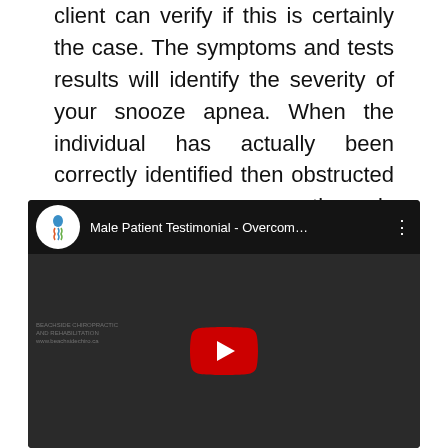client can verify if this is certainly the case. The symptoms and tests results will identify the severity of your snooze apnea. When the individual has actually been correctly identified then obstructed snooze apnea cure options is usually appeared investigated.
[Figure (screenshot): YouTube video embed thumbnail showing a YouTube video titled 'Male Patient Testimonial - Overcom...' with a channel logo (circular icon with a head/spine graphic), a YouTube play button overlay on a dark video frame showing a man in a black t-shirt, and a three-dot menu icon.]